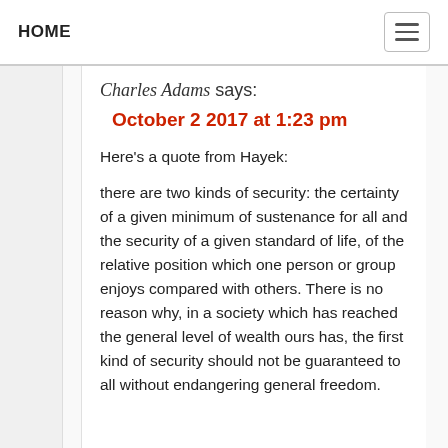HOME
Charles Adams says:
October 2 2017 at 1:23 pm
Here’s a quote from Hayek:
there are two kinds of security: the certainty of a given minimum of sustenance for all and the security of a given standard of life, of the relative position which one person or group enjoys compared with others. There is no reason why, in a society which has reached the general level of wealth ours has, the first kind of security should not be guaranteed to all without endangering general freedom.